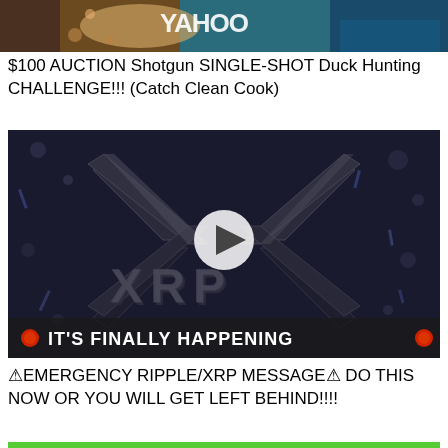[Figure (screenshot): Top portion of a video thumbnail showing food/cooking related content with colorful background]
$100 AUCTION Shotgun SINGLE-SHOT Duck Hunting CHALLENGE!!! (Catch Clean Cook)
[Figure (screenshot): XRP/Ripple cryptocurrency video thumbnail with dark metallic background showing XRP logo, play button overlay, and text 'IT'S FINALLY HAPPENING']
⚠EMERGENCY RIPPLE/XRP MESSAGE⚠ DO THIS NOW OR YOU WILL GET LEFT BEHIND!!!!
[Figure (screenshot): Bottom portion of a video thumbnail showing a person on a green background with lightning bolt graphics]